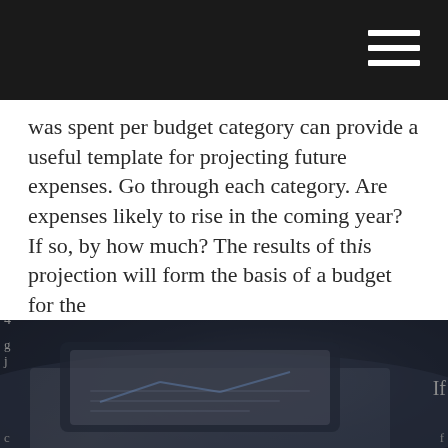was spent per budget category can provide a useful template for projecting future expenses. Go through each category. Are expenses likely to rise in the coming year? If so, by how much? The results of this projection will form the basis of a budget for the
[Figure (photo): Overhead photo of hands working on financial documents/charts on a laptop, dark overlay, partially obscured by overlapping text]